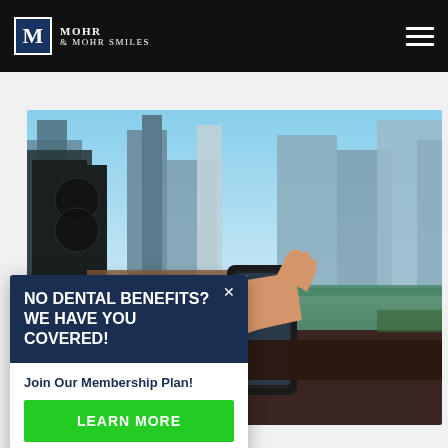Mohr & Mohr Smiles
[Figure (photo): City skyline with tall buildings and a hand holding a smartphone outdoors near a waterway]
NO DENTAL BENEFITS? WE HAVE YOU COVERED!
Join Our Membership Plan!
LEARN MORE
Contact Us